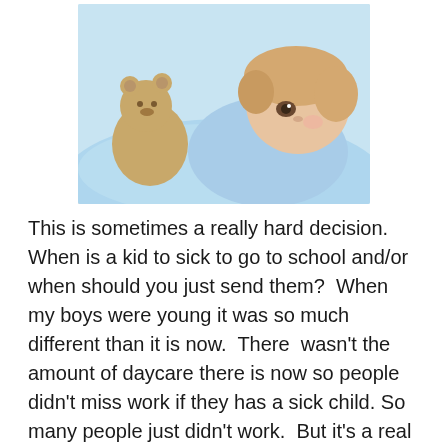[Figure (photo): Young child lying on a light blue pillow/blanket, holding a teddy bear, looking sad or unwell. Photographed against a light background.]
This is sometimes a really hard decision. When is a kid to sick to go to school and/or when should you just send them?  When my boys were young it was so much different than it is now.  There  wasn't the amount of daycare there is now so people didn't miss work if they has a sick child. So many people just didn't work.  But it's a real problem now.
This was on Good Question one day last week and they had a school nurse giving her opinion.  Certainly some